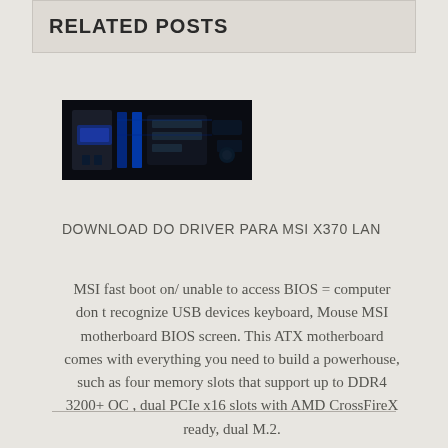RELATED POSTS
[Figure (photo): Dark motherboard with blue RAM sticks and circuit components, thumbnail image]
DOWNLOAD DO DRIVER PARA MSI X370 LAN
MSI fast boot on/ unable to access BIOS = computer don t recognize USB devices keyboard, Mouse MSI motherboard BIOS screen. This ATX motherboard comes with everything you need to build a powerhouse, such as four memory slots that support up to DDR4 3200+ OC , dual PCIe x16 slots with AMD CrossFireX ready, dual M.2.